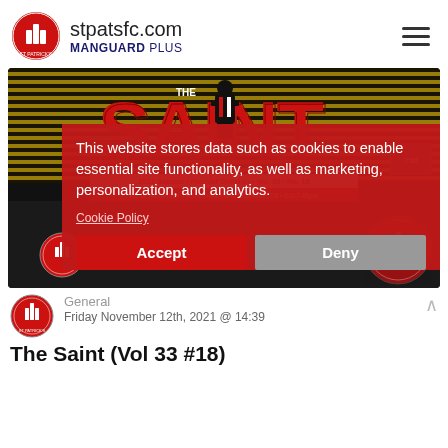stpatsfc.com MANGUARD PLUS
[Figure (screenshot): The Saint magazine cover Vol 33 No. 18, 2021 Season, Premier Division, Fri 12 November, Richmond Park Inchicore D8, KO:7.45pm, with cookie consent overlay showing Accept and Deny buttons]
General
Friday November 12th, 2021 @ 14:39
The Saint (Vol 33 #18)